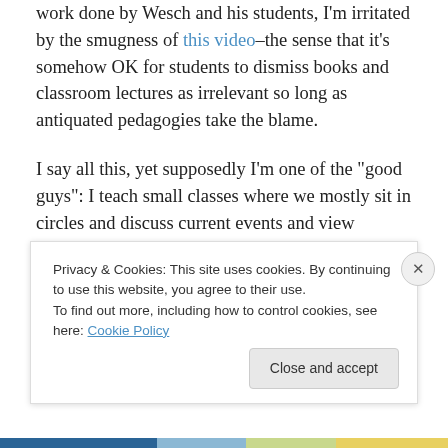work done by Wesch and his students, I'm irritated by the smugness of this video–the sense that it's somehow OK for students to dismiss books and classroom lectures as irrelevant so long as antiquated pedagogies take the blame.
I say all this, yet supposedly I'm one of the "good guys": I teach small classes where we mostly sit in circles and discuss current events and view wacky-but-insightful websites and interrogate visual literacy and collaborate with community organizations doing field work and hands-on curatorial work and writing and arts-integrated
Privacy & Cookies: This site uses cookies. By continuing to use this website, you agree to their use. To find out more, including how to control cookies, see here: Cookie Policy